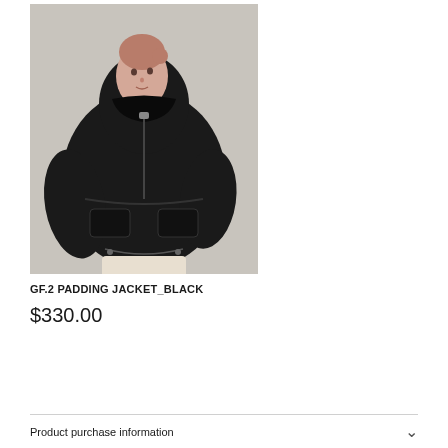[Figure (photo): A young woman wearing a black oversized padded hooded jacket with waist drawstring and large front pockets, photographed against a light grey background. She wears light/cream colored pants.]
GF.2 PADDING JACKET_BLACK
$330.00
Product purchase information